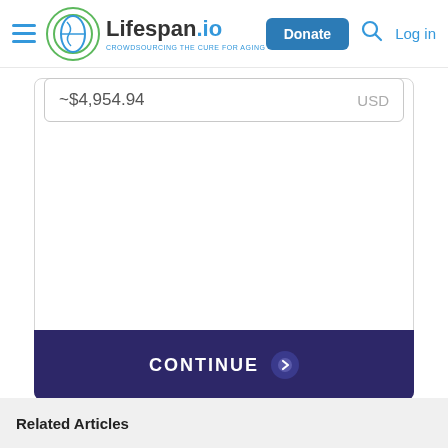[Figure (logo): Lifespan.io logo with hamburger menu icon, Donate button, search icon, and Log in link in the site header]
~$4,954.94    USD
CONTINUE →
❤ Powered By ❤
[Figure (logo): The Giving Block logo with cube icon and text]
Related Articles